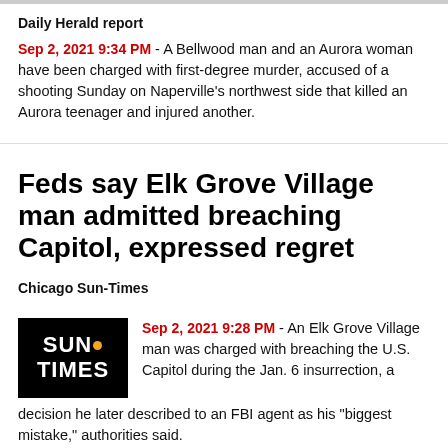Daily Herald report
Sep 2, 2021 9:34 PM - A Bellwood man and an Aurora woman have been charged with first-degree murder, accused of a shooting Sunday on Naperville's northwest side that killed an Aurora teenager and injured another.
Feds say Elk Grove Village man admitted breaching Capitol, expressed regret
Chicago Sun-Times
Sep 2, 2021 9:28 PM - An Elk Grove Village man was charged with breaching the U.S. Capitol during the Jan. 6 insurrection, a decision he later described to an FBI agent as his "biggest mistake," authorities said.